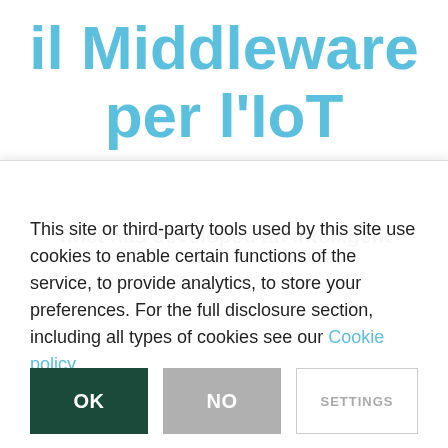il Middleware per l'IoT
T.net has developed an intelligent
This site or third-party tools used by this site use cookies to enable certain functions of the service, to provide analytics, to store your preferences. For the full disclosure section, including all types of cookies see our Cookie policy
OK
NO
SETTINGS